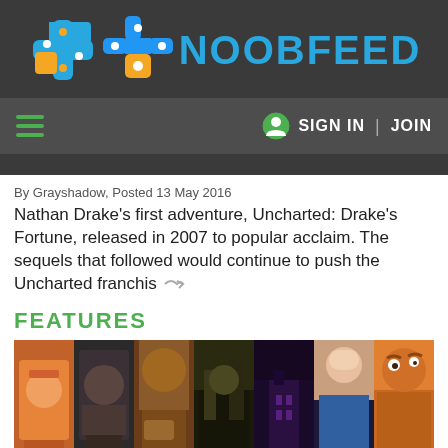NOOBFEED
SIGN IN | JOIN
By Grayshadow, Posted 13 May 2016
Nathan Drake's first adventure, Uncharted: Drake's Fortune, released in 2007 to popular acclaim. The sequels that followed would continue to push the Uncharted franchis
FEATURES
[Figure (photo): Collage of video game characters in vertical strips: includes Tracer (Overwatch), a grizzled male character, a brown/amber character, a creature near buildings, a dark purple building scene, an anime-style female character, and Ratchet & Clank character]